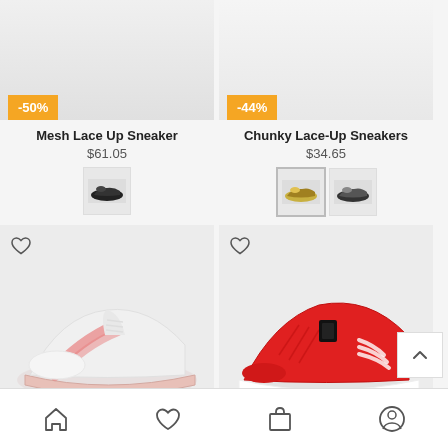[Figure (photo): Product image area for Mesh Lace Up Sneaker with -50% orange discount badge]
[Figure (photo): Product image area for Chunky Lace-Up Sneakers with -44% orange discount badge]
Mesh Lace Up Sneaker
$61.05
[Figure (photo): Color swatch thumbnail for Mesh Lace Up Sneaker - black colorway]
Chunky Lace-Up Sneakers
$34.65
[Figure (photo): Color swatch thumbnails for Chunky Lace-Up Sneakers - two colorways]
[Figure (photo): White/pink sneaker product card with heart wishlist icon]
[Figure (photo): Red sneaker product card with heart wishlist icon]
Home | Wishlist | Cart | Account navigation bar